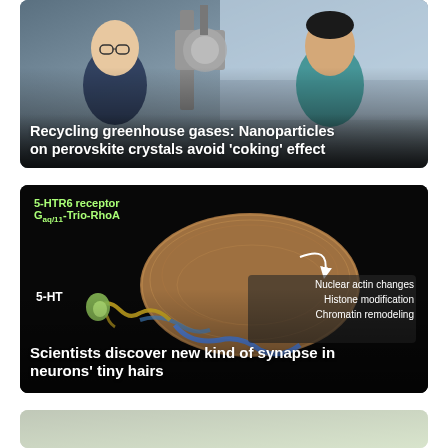[Figure (photo): Two researchers in a laboratory with scientific equipment. One wearing glasses and a dark patterned shirt on the left, another in a teal shirt on the right. Complex lab machinery visible in background.]
Recycling greenhouse gases: Nanoparticles on perovskite crystals avoid 'coking' effect
[Figure (illustration): Scientific illustration on black background showing a 5-HT neuron synapse with labels: 5-HTR6 receptor, G(aq/11)-Trio-RhoA, 5-HT, Nuclear actin changes, Histone modification, Chromatin remodeling. Shows a synapse connecting to a brain-like structure with an arrow.]
Scientists discover new kind of synapse in neurons' tiny hairs
[Figure (photo): Partial view of a third article card at the bottom of the page, showing a green/grey toned image, cropped.]